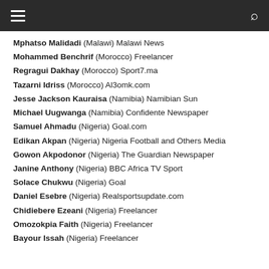≡  [menu]  [search]
Mphatso Malidadi (Malawi) Malawi News
Mohammed Benchrif (Morocco) Freelancer
Regragui Dakhay (Morocco) Sport7.ma
Tazarni Idriss (Morocco) Al3omk.com
Jesse Jackson Kauraisa (Namibia) Namibian Sun
Michael Uugwanga (Namibia) Confidente Newspaper
Samuel Ahmadu (Nigeria) Goal.com
Edikan Akpan (Nigeria) Nigeria Football and Others Media
Gowon Akpodonor (Nigeria) The Guardian Newspaper
Janine Anthony (Nigeria) BBC Africa TV Sport
Solace Chukwu (Nigeria) Goal
Daniel Esebre (Nigeria) Realsportsupdate.com
Chidiebere Ezeani (Nigeria) Freelancer
Omozokpia Faith (Nigeria) Freelancer
Bayour Issah (Nigeria) Freelancer